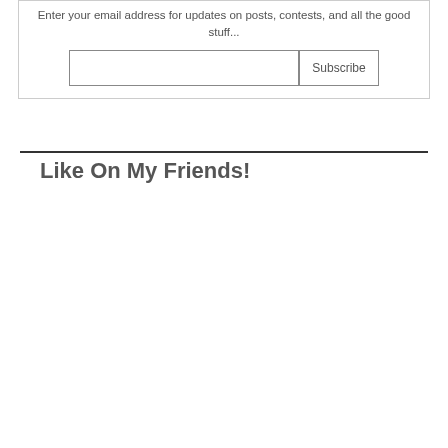Enter your email address for updates on posts, contests, and all the good stuff...
Like On My Friends!